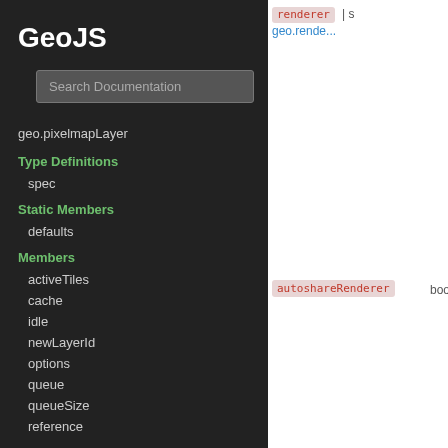GeoJS
Search Documentation
geo.pixelmapLayer
Type Definitions
spec
Static Members
defaults
Members
activeTiles
cache
idle
newLayerId
options
queue
queueSize
reference
Methods
active
addChild
addFeature
addPromise
attribution
renderer (tag) | boolean | s geo.rende...
autoshareRenderer boolean | s
canvas HTMLElem...